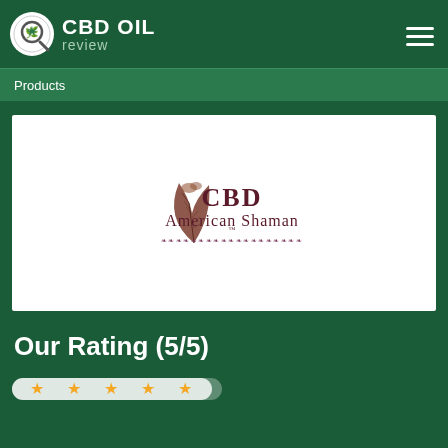CBD OIL review
Products
[Figure (logo): CBD American Shaman logo with decorative feather and ornamental border text]
Our Rating (5/5)